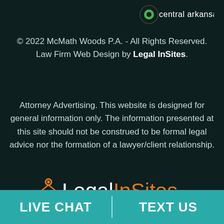[Figure (logo): Partial logo at top with green circle icon and text 'central arkansas' on dark background]
© 2022 McMath Woods P.A. - All Rights Reserved. Law Firm Web Design by Legal InSites.
Attorney Advertising. This website is designed for general information only. The information presented at this site should not be construed to be formal legal advice nor the formation of a lawyer/client relationship.
[Figure (logo): Legal InSites logo with orange network icon, white 'Legal' text, orange 'InSites' text, and tagline 'digital marketing for law firms']
LIVE CHAT
TEXT US